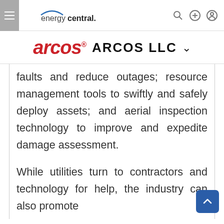energycentral. [navigation bar with hamburger menu, search, add, and user icons]
arcos ARCOS LLC
faults and reduce outages; resource management tools to swiftly and safely deploy assets; and aerial inspection technology to improve and expedite damage assessment.
While utilities turn to contractors and technology for help, the industry can also promote